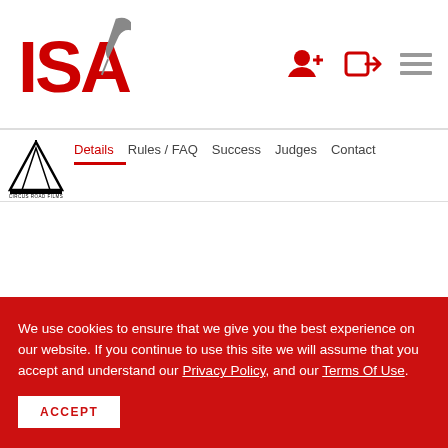ISA (logo with feather) — header navigation with user icons
Details  Rules / FAQ  Success  Judges  Contact
We use cookies to ensure that we give you the best experience on our website. If you continue to use this site we will assume that you accept and understand our Privacy Policy, and our Terms Of Use.
ACCEPT